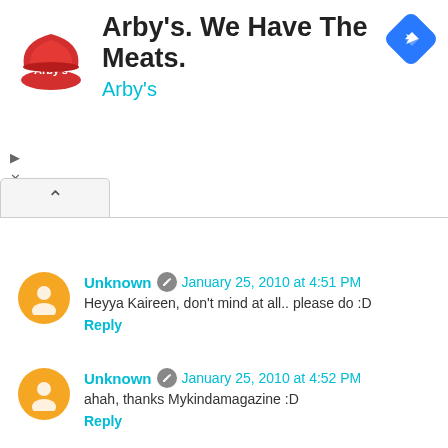[Figure (logo): Arby's advertisement banner with logo, headline 'Arby's. We Have The Meats.', subtext 'Arby's', and a blue navigation icon]
Unknown · January 25, 2010 at 4:51 PM
Heyya Kaireen, don't mind at all.. please do :D
Reply
Unknown · January 25, 2010 at 4:52 PM
ahah, thanks Mykindamagazine :D
Reply
Unknown · January 25, 2010 at 4:53 PM
@Sabine, not to mention, super comfortable too :)
Reply